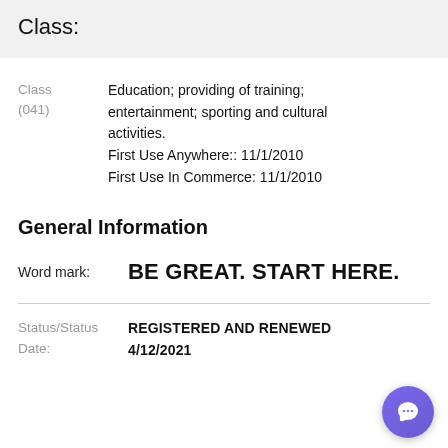Class:
Class (041)
Education; providing of training; entertainment; sporting and cultural activities.
First Use Anywhere:: 11/1/2010
First Use In Commerce: 11/1/2010
General Information
Word mark: BE GREAT. START HERE.
Status/Status Date: REGISTERED AND RENEWED 4/12/2021